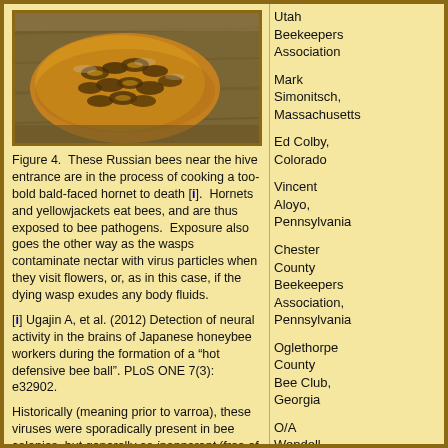[Figure (photo): Close-up photograph of Russian bees clustered near a hive entrance, cooking a bald-faced hornet to death.]
Figure 4.  These Russian bees near the hive entrance are in the process of cooking a too-bold bald-faced hornet to death [i].  Hornets and yellowjackets eat bees, and are thus exposed to bee pathogens.  Exposure also goes the other way as the wasps contaminate nectar with virus particles when they visit flowers, or, as in this case, if the dying wasp exudes any body fluids.
[i] Ugajin A, et al. (2012) Detection of neural activity in the brains of Japanese honeybee workers during the formation of a “hot defensive bee ball”. PLoS ONE 7(3): e32902.
Historically (meaning prior to varroa), these viruses were sporadically present in bee colonies, but generally as inapparent (free of noticeable symptoms) infections [20]. It was only under certain circumstances that they went epidemic and caused noticeable morbidity or mortality of colonies:
Utah Beekeepers Association
Mark Simonitsch, Massachusetts
Ed Colby, Colorado
Vincent Aloyo, Pennsylvania
Chester County Beekeepers Association, Pennsylvania
Oglethorpe County Bee Club, Georgia
O/A Wendell Honey,